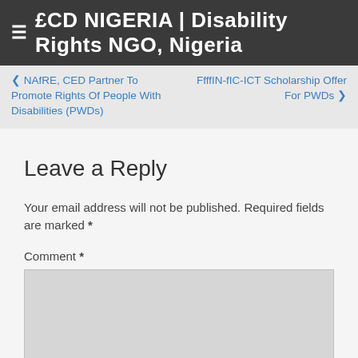≡ £CD NIGERIA | Disability Rights NGO, Nigeria
❮ NAfRE, CED Partner To Promote Rights Of People With Disabilities (PWDs)
FFFIN-FIC-ICT Scholarship Offer For PWDs ❯
Leave a Reply
Your email address will not be published. Required fields are marked *
Comment *